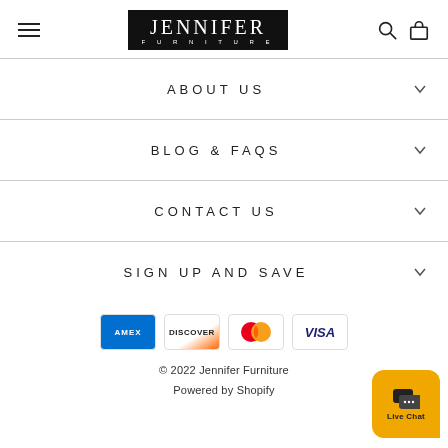JENNIFER FURNITURE
ABOUT US
BLOG & FAQS
CONTACT US
SIGN UP AND SAVE
[Figure (logo): Payment methods: American Express, Discover, Mastercard, Visa]
© 2022 Jennifer Furniture
Powered by Shopify